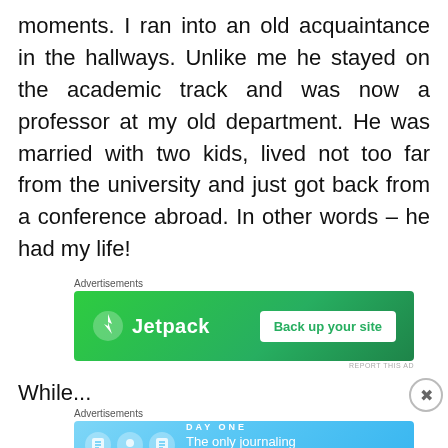moments. I ran into an old acquaintance in the hallways. Unlike me he stayed on the academic track and was now a professor at my old department. He was married with two kids, lived not too far from the university and just got back from a conference abroad. In other words – he had my life!
[Figure (screenshot): Jetpack advertisement banner: green background with Jetpack logo and 'Back up your site' button]
While...
[Figure (screenshot): Day One journaling app advertisement: blue background with app icons and text 'The only journaling app you'll ever need.']